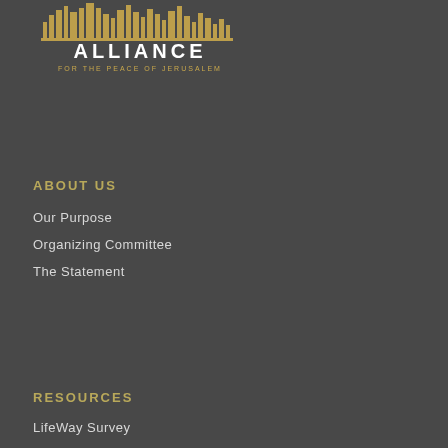[Figure (logo): Alliance for the Peace of Jerusalem logo with gold city skyline silhouette above the text ALLIANCE FOR THE PEACE OF JERUSALEM in white and gold on dark background]
ABOUT US
Our Purpose
Organizing Committee
The Statement
RESOURCES
LifeWay Survey